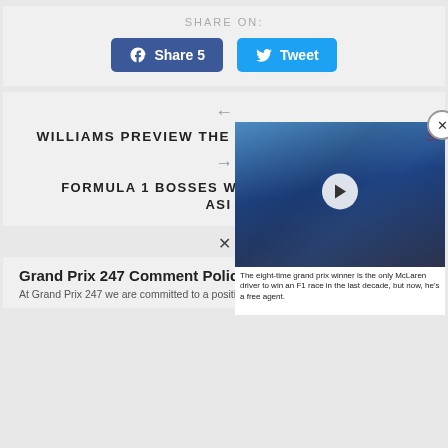SHARE ON:
[Figure (other): Facebook Share 5 and Tweet buttons]
WILLIAMS PREVIEW THE BELGIAN GRAND PRIX
FORMULA 1 BOSSES WANT TWO RACES IN ASIA
[Figure (screenshot): Video overlay showing a Formula 1 driver, with SI logo and caption: The eight-time grand prix winner is the only McLaren driver to win an F1 race in the last decade, but now, he's a free agent.]
×
Grand Prix 247 Comment Policy